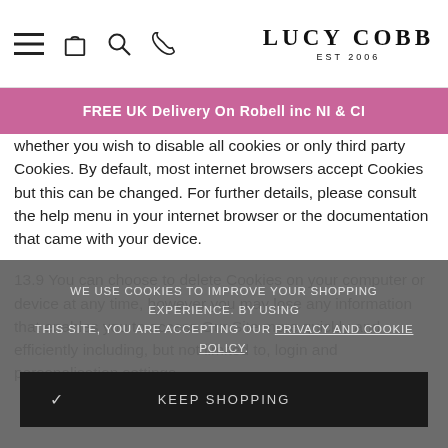LUCY COBB EST 2006
FREE UK Delivery On Robell inc NI & CI
whether you wish to disable all cookies or only third party Cookies. By default, most internet browsers accept Cookies but this can be changed. For further details, please consult the help menu in your internet browser or the documentation that came with your device.
13.9 You can choose to delete Cookies on your computer or device at any time, however you may lose any information that enables you to access Our Site more quickly and efficiently including, but not limited to, login and personalisation settings.
WE USE COOKIES TO IMPROVE YOUR SHOPPING EXPERIENCE. BY USING THIS SITE, YOU ARE ACCEPTING OUR PRIVACY AND COOKIE POLICY.
✓ KEEP SHOPPING